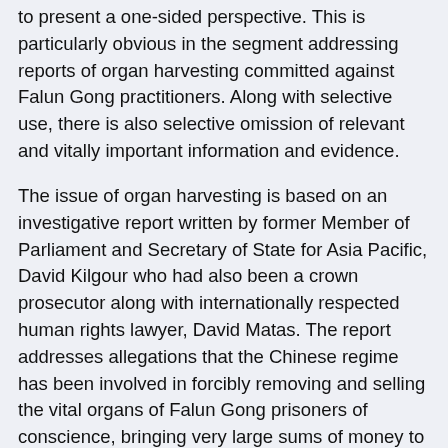to present a one-sided perspective. This is particularly obvious in the segment addressing reports of organ harvesting committed against Falun Gong practitioners. Along with selective use, there is also selective omission of relevant and vitally important information and evidence.
The issue of organ harvesting is based on an investigative report written by former Member of Parliament and Secretary of State for Asia Pacific, David Kilgour who had also been a crown prosecutor along with internationally respected human rights lawyer, David Matas. The report addresses allegations that the Chinese regime has been involved in forcibly removing and selling the vital organs of Falun Gong prisoners of conscience, bringing very large sums of money to the perpetrators.
Enquete portrayed the claims of organ harvesting as having been widely refuted and even as having been concocted in response to a setback in a legal case. In addressing our concerns with Enquete's treatment of this issue, we believe it is essential to first relate some recent developments in which organizations and media have reached strikingly